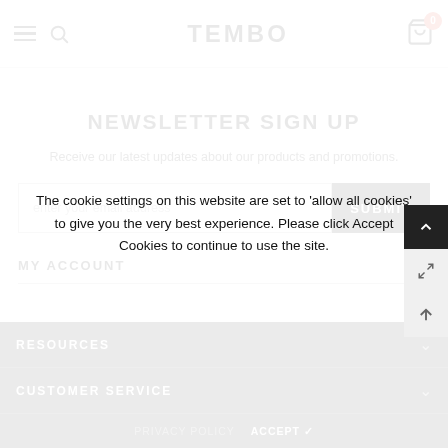TEMBO
NEWSLETTER SIGN UP
Receive our latest updates about our products and promotions.
enter your email address  SUBMIT
MY ACCOUNT
RESOURCES
CUSTOMER SERVICE
The cookie settings on this website are set to 'allow all cookies' to give you the very best experience. Please click Accept Cookies to continue to use the site.
PRIVACY POLICY   ACCEPT ✔